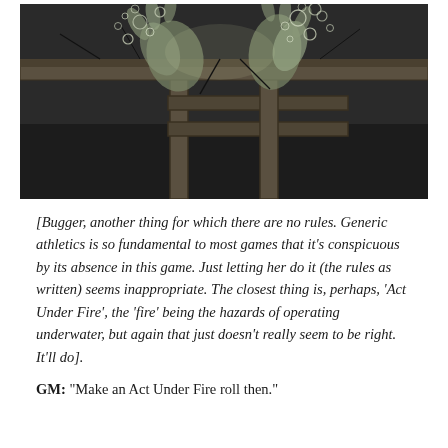[Figure (illustration): Dark, moody illustration in muted grey and green tones showing two translucent, ghostly hands or creature appendages emerging from or grasping a wooden surface (like a dock or raft), with bubbles rising around them, suggesting an underwater or aquatic scene.]
[Bugger, another thing for which there are no rules. Generic athletics is so fundamental to most games that it's conspicuous by its absence in this game. Just letting her do it (the rules as written) seems inappropriate. The closest thing is, perhaps, 'Act Under Fire', the 'fire' being the hazards of operating underwater, but again that just doesn't really seem to be right. It'll do].
GM: "Make an Act Under Fire roll then."